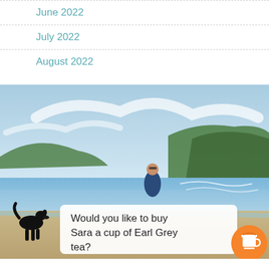June 2022
July 2022
August 2022
[Figure (photo): Beach scene with a person standing on the shore, green cliffs in the background, a black dog on the left, waves and sandy beach. Overlaid white card reads 'Would you like to buy Sara a cup of Earl Grey tea?' with an orange coffee cup button.]